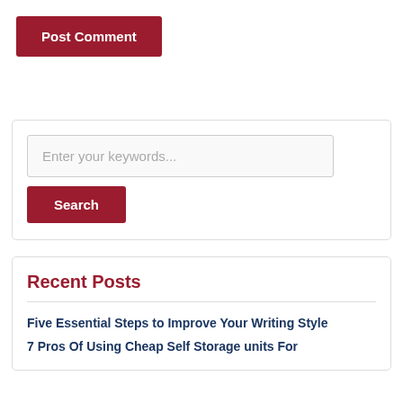Post Comment
[Figure (screenshot): Search box with text input placeholder 'Enter your keywords...' and a red 'Search' button below it]
Recent Posts
Five Essential Steps to Improve Your Writing Style
7 Pros Of Using Cheap Self Storage units For